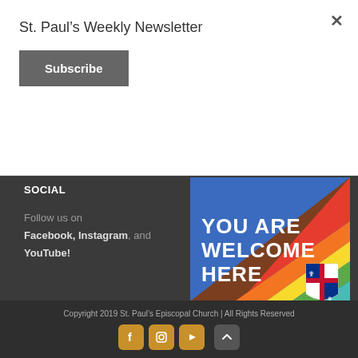St. Paul's Weekly Newsletter
Subscribe
SOCIAL
Follow us on Facebook, Instagram, and YouTube!
[Figure (illustration): Rainbow-striped banner with text 'YOU ARE WELCOME HERE' and Episcopal Church shield logo]
Copyright 2019 St. Paul's Episcopal Church | All Rights Reserved
[Figure (infographic): Social media icons: Facebook, Instagram, YouTube in golden/amber rounded square buttons, and a scroll-to-top arrow button]